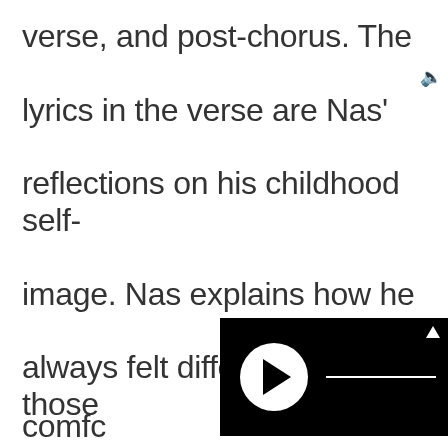verse, and post-chorus. The lyrics in the verse are Nas' reflections on his childhood self-image. Nas explains how he always felt different than those aroun comfc
[Figure (other): A media player widget with black background, circular white play button with triangle icon, and a white horizontal progress bar line. An upward arrow is visible in the top right corner.]